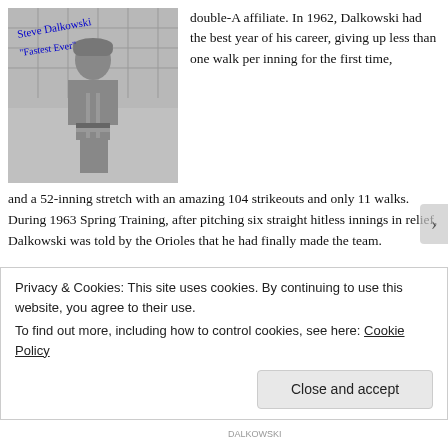[Figure (photo): Black and white photo of Steve Dalkowski in baseball uniform with blue autograph inscription reading 'Fastest Ever']
double-A affiliate. In 1962, Dalkowski had the best year of his career, giving up less than one walk per inning for the first time, and a 52-inning stretch with an amazing 104 strikeouts and only 11 walks. During 1963 Spring Training, after pitching six straight hitless innings in relief, Dalkowski was told by the Orioles that he had finally made the team.
How did Steve Dalkowski transform his performance? Earl
Privacy & Cookies: This site uses cookies. By continuing to use this website, you agree to their use.
To find out more, including how to control cookies, see here: Cookie Policy